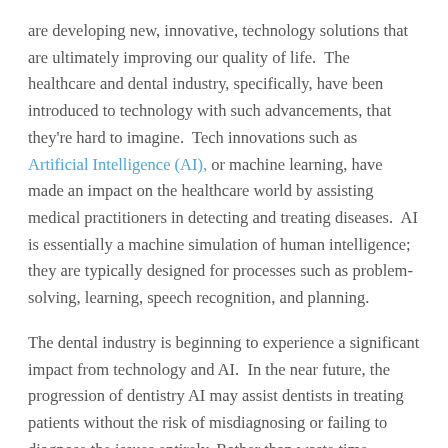are developing new, innovative, technology solutions that are ultimately improving our quality of life.  The healthcare and dental industry, specifically, have been introduced to technology with such advancements, that they're hard to imagine.  Tech innovations such as Artificial Intelligence (AI), or machine learning, have made an impact on the healthcare world by assisting medical practitioners in detecting and treating diseases.  AI is essentially a machine simulation of human intelligence; they are typically designed for processes such as problem-solving, learning, speech recognition, and planning.
The dental industry is beginning to experience a significant impact from technology and AI.  In the near future, the progression of dentistry AI may assist dentists in treating patients without the risk of misdiagnosing or failing to diagnose the issues entirely. Rather than waste time visiting the dentist